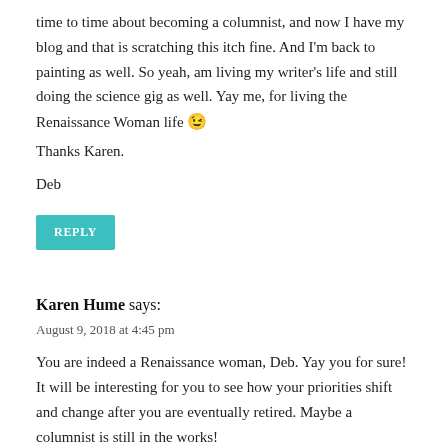time to time about becoming a columnist, and now I have my blog and that is scratching this itch fine. And I'm back to painting as well. So yeah, am living my writer's life and still doing the science gig as well. Yay me, for living the Renaissance Woman life 😉
Thanks Karen.
Deb
REPLY
Karen Hume says:
August 9, 2018 at 4:45 pm
You are indeed a Renaissance woman, Deb. Yay you for sure! It will be interesting for you to see how your priorities shift and change after you are eventually retired. Maybe a columnist is still in the works!
REPLY